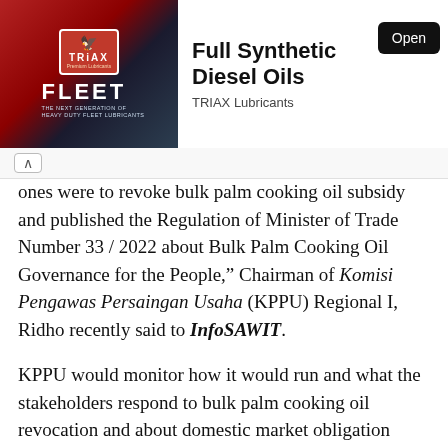[Figure (other): TRIAX Lubricants FLEET advertisement banner with logo and product image]
ones were to revoke bulk palm cooking oil subsidy and published the Regulation of Minister of Trade Number 33 / 2022 about Bulk Palm Cooking Oil Governance for the People," Chairman of Komisi Pengawas Persaingan Usaha (KPPU) Regional I, Ridho recently said to InfoSAWIT.
KPPU would monitor how it would run and what the stakeholders respond to bulk palm cooking oil revocation and about domestic market obligation (DMO) and domestic price obligation (DPO) mechanism.